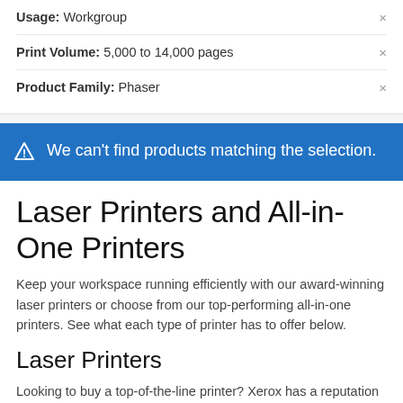Usage: Workgroup
Print Volume: 5,000 to 14,000 pages
Product Family: Phaser
We can't find products matching the selection.
Laser Printers and All-in-One Printers
Keep your workspace running efficiently with our award-winning laser printers or choose from our top-performing all-in-one printers. See what each type of printer has to offer below.
Laser Printers
Looking to buy a top-of-the-line printer? Xerox has a reputation